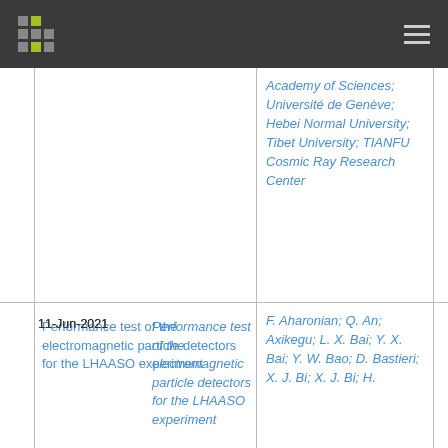Navigation bar with logo and menu icon
Academy of Sciences; Université de Genève; Hebei Normal University; Tibet University; TIANFU Cosmic Ray Research Center
| Date | Title | Authors/Affiliations |
| --- | --- | --- |
| 11-Jun-2021 | Performance test of the electromagnetic particle detectors for the LHAASO experiment | F. Aharonian; Q. An; Axikegu; L. X. Bai; Y. X. Bai; Y. W. Bao; D. Bastieri; X. J. Bi; X. J. Bi; H. |